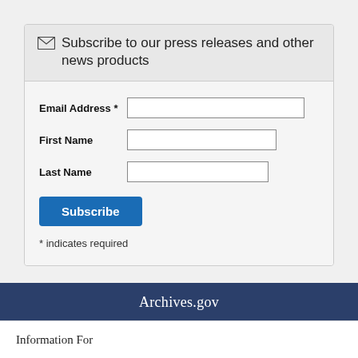Subscribe to our press releases and other news products
Email Address *
First Name
Last Name
Subscribe
* indicates required
Archives.gov
Information For